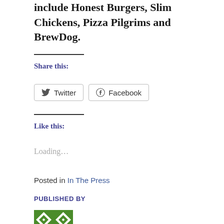include Honest Burgers, Slim Chickens, Pizza Pilgrims and BrewDog.
Share this:
Twitter  Facebook
Like this:
Loading...
Posted in In The Press
PUBLISHED BY
[Figure (illustration): Green and white patterned square avatar/logo image]